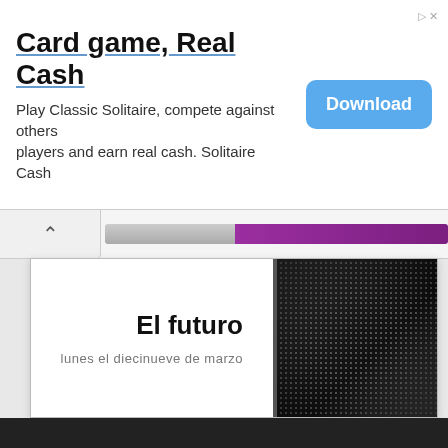Card game, Real Cash
Play Classic Solitaire, compete against others players and earn real cash. Solitaire Cash
[Figure (screenshot): Download button (blue rounded rectangle)]
[Figure (screenshot): Browser navigation bar with back arrow and purple/grey progress bar, followed by a presentation slide showing 'El futuro' title and 'lunes el diecinueve de marzo' subtitle on white background with a dark carbon-fiber pattern panel on the right]